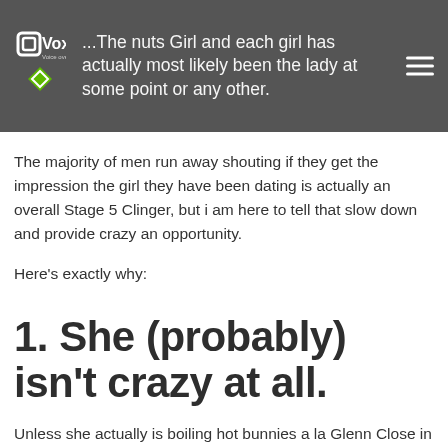Voxip.nl – Voice over IP Solutions
...The nuts Girl and each girl has actually most likely been the lady at some point or any other.
The majority of men run away shouting if they get the impression the girl they have been dating is actually an overall Stage 5 Clinger, but i am here to tell that slow down and provide crazy an opportunity.
Here’s exactly why:
1. She (probably) isn’t crazy at all.
Unless she actually is boiling hot bunnies a la Glenn Close in